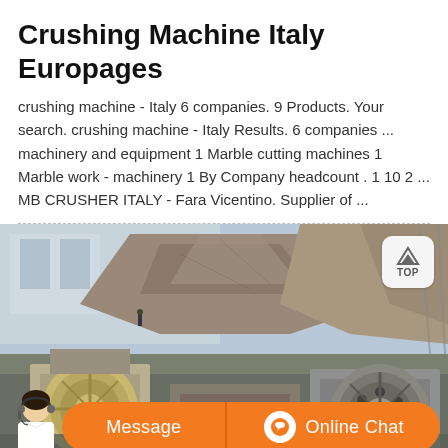Crushing Machine Italy Europages
crushing machine - Italy 6 companies. 9 Products. Your search. crushing machine - Italy Results. 6 companies ... machinery and equipment 1 Marble cutting machines 1 Marble work - machinery 1 By Company headcount . 1 10 2 ... MB CRUSHER ITALY - Fara Vicentino. Supplier of ...
[Figure (photo): Industrial crushing machines (jaw crushers) displayed outdoors with large rock/stone structure in background and building visible behind]